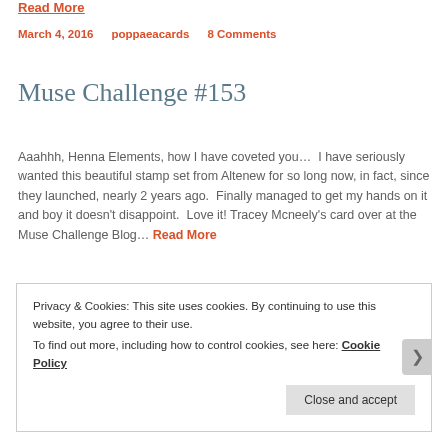Read More
March 4, 2016   poppaeacards   8 Comments
Muse Challenge #153
Aaahhh, Henna Elements, how I have coveted you…  I have seriously wanted this beautiful stamp set from Altenew for so long now, in fact, since they launched, nearly 2 years ago.  Finally managed to get my hands on it and boy it doesn't disappoint.  Love it! Tracey Mcneely's card over at the Muse Challenge Blog… Read More
Privacy & Cookies: This site uses cookies. By continuing to use this website, you agree to their use. To find out more, including how to control cookies, see here: Cookie Policy